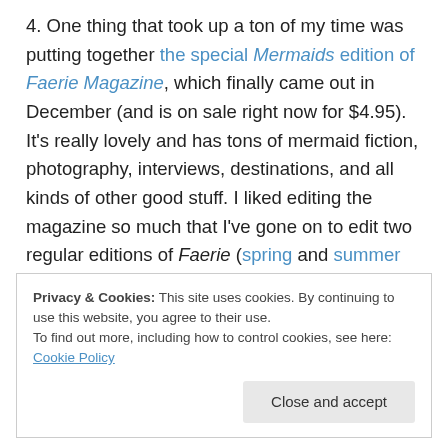4. One thing that took up a ton of my time was putting together the special Mermaids edition of Faerie Magazine, which finally came out in December (and is on sale right now for $4.95). It's really lovely and has tons of mermaid fiction, photography, interviews, destinations, and all kinds of other good stuff. I liked editing the magazine so much that I've gone on to edit two regular editions of Faerie (spring and summer 2014) and am working on the fall issue now. The regular magazine isn't chock full of mermaids but they pop in; the spring edition featured an
Privacy & Cookies: This site uses cookies. By continuing to use this website, you agree to their use.
To find out more, including how to control cookies, see here: Cookie Policy
Close and accept